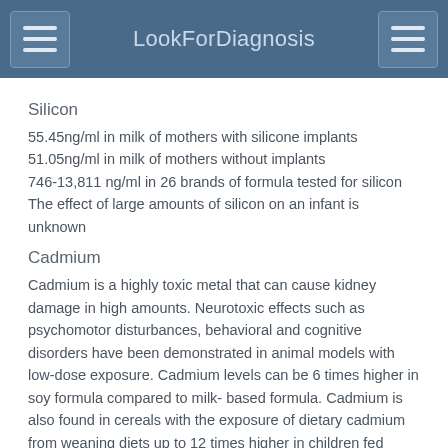LookForDiagnosis
Silicon
55.45ng/ml in milk of mothers with silicone implants
51.05ng/ml in milk of mothers without implants
746-13,811 ng/ml in 26 brands of formula tested for silicon
The effect of large amounts of silicon on an infant is unknown
Cadmium
Cadmium is a highly toxic metal that can cause kidney damage in high amounts. Neurotoxic effects such as psychomotor disturbances, behavioral and cognitive disorders have been demonstrated in animal models with low-dose exposure. Cadmium levels can be 6 times higher in soy formula compared to milk- based formula. Cadmium is also found in cereals with the exposure of dietary cadmium from weaning diets up to 12 times higher in children fed infant formula compared to breast milk.